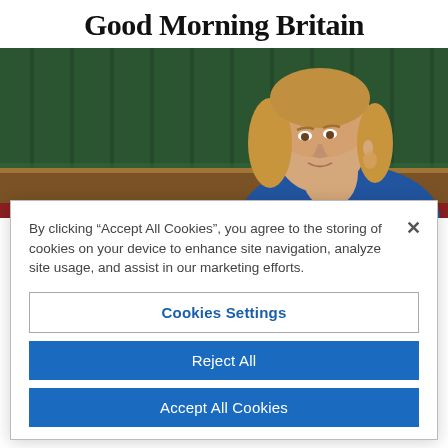Good Morning Britain
[Figure (photo): A blonde woman in a blue jacket seated in what appears to be the UK House of Commons, with green panelled benches and wooden furniture visible in the background.]
By clicking “Accept All Cookies”, you agree to the storing of cookies on your device to enhance site navigation, analyze site usage, and assist in our marketing efforts.
Cookies Settings
Reject All
Accept All Cookies